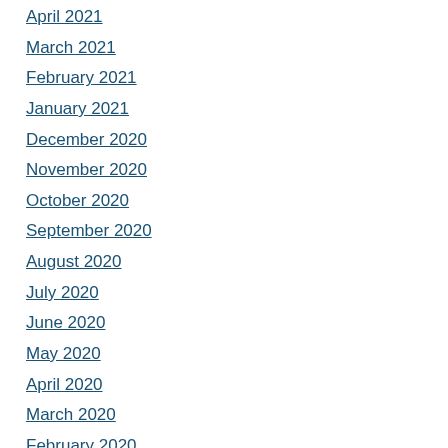April 2021
March 2021
February 2021
January 2021
December 2020
November 2020
October 2020
September 2020
August 2020
July 2020
June 2020
May 2020
April 2020
March 2020
February 2020
January 2020
December 2019
October 2019